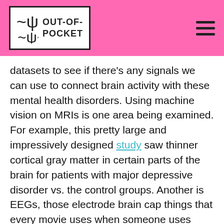OUT-OF-POCKET
datasets to see if there’s any signals we can use to connect brain activity with these mental health disorders. Using machine vision on MRIs is one area being examined. For example, this pretty large and impressively designed study saw thinner cortical gray matter in certain parts of the brain for patients with major depressive disorder vs. the control groups. Another is EEGs, those electrode brain cap things that every movie uses when someone uses “100% of their brain”. They produce a ton of data, but new biotechs are using them as biomarkers to